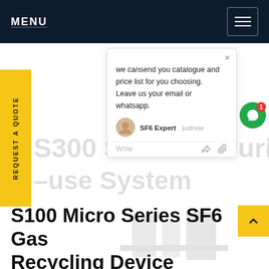MENU
S100 Micro Series SF6 Gas Recycling Device
we cansend you catalogue and price list for you choosing. Leave us your email or whatsapp.
SF6 Expert  justnow
Write
REQUEST A QUOTE